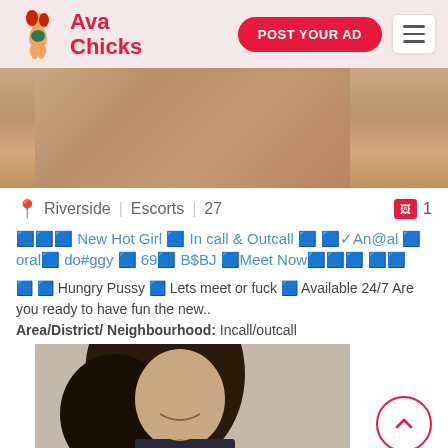Ava Chicks | POST YOUR AD
[Figure (photo): Close-up photo (cropped), top listing image]
Riverside | Escorts | 27  🖼 1
🔵🔵🔵 New Hot Girl 🔵 In call & Outcall 🔵 🔵✓An@al 🔵 oral🔵 do#ggy 🔵 69🔵 B$BJ 🔵Meet Now🔵🔵🔵 🔵🔵
🔵 🔵 Hungry Pussy 🔵 Lets meet or fuck 🔵 Available 24/7 Are you ready to have fun the new..
Area/District/ Neighbourhood: Incall/outcall
[Figure (photo): Photo of a woman with long dark hair, smiling, wearing a dark top with necklace]